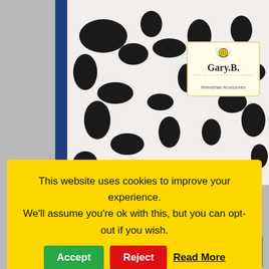[Figure (photo): Photo of a cow-print blanket/fabric with black spots on white background, with a Gary.B. Wheelchair Accessories logo/tag visible in the upper right corner of the image. Blue borders/sidebars on left and right edges.]
Blue
€60.00 – €170.00
All our blankets are made using a special
This website uses cookies to improve your experience. We'll assume you're ok with this, but you can opt-out if you wish. Accept Reject Read More